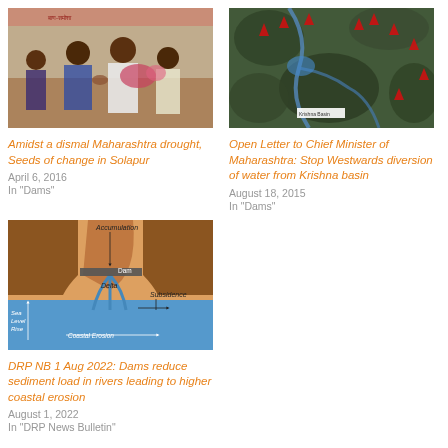[Figure (photo): Group of men shaking hands at a formal indoor event, with a banner in the background]
Amidst a dismal Maharashtra drought, Seeds of change in Solapur
April 6, 2016
In "Dams"
[Figure (map): Aerial/satellite map showing a river basin with red markers indicating locations, labeled as Krishna Basin]
Open Letter to Chief Minister of Maharashtra: Stop Westwards diversion of water from Krishna basin
August 18, 2015
In "Dams"
[Figure (illustration): Diagram showing dam effects on coastal erosion: accumulation upstream, delta, subsidence, sea level rise, and coastal erosion labeled with arrows]
DRP NB 1 Aug 2022: Dams reduce sediment load in rivers leading to higher coastal erosion
August 1, 2022
In "DRP News Bulletin"